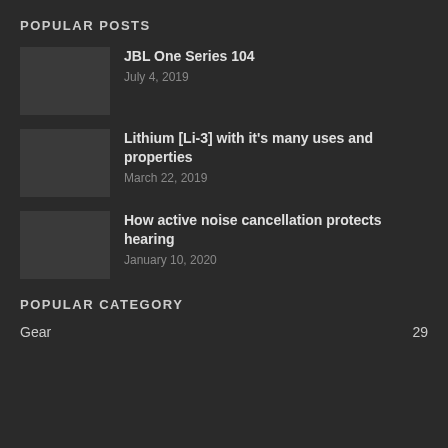POPULAR POSTS
JBL One Series 104
July 4, 2019
Lithium [Li-3] with it's many uses and properties
March 22, 2019
How active noise cancellation protects hearing
January 10, 2020
POPULAR CATEGORY
Gear	29